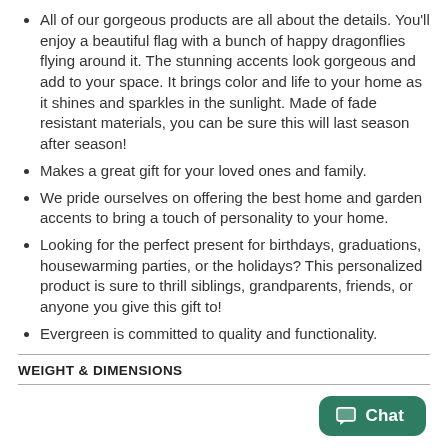All of our gorgeous products are all about the details. You'll enjoy a beautiful flag with a bunch of happy dragonflies flying around it. The stunning accents look gorgeous and add to your space. It brings color and life to your home as it shines and sparkles in the sunlight. Made of fade resistant materials, you can be sure this will last season after season!
Makes a great gift for your loved ones and family.
We pride ourselves on offering the best home and garden accents to bring a touch of personality to your home.
Looking for the perfect present for birthdays, graduations, housewarming parties, or the holidays? This personalized product is sure to thrill siblings, grandparents, friends, or anyone you give this gift to!
Evergreen is committed to quality and functionality.
WEIGHT & DIMENSIONS